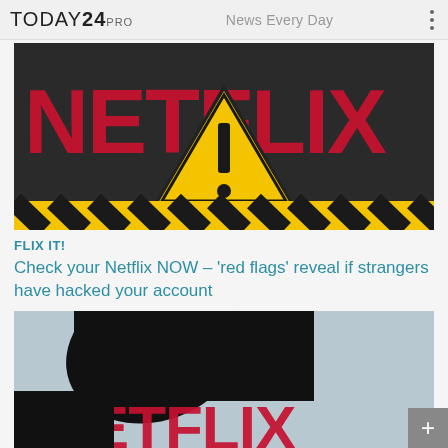TODAY24 PRO   News Every Day
[Figure (photo): Netflix logo on dark background with a yellow warning triangle sign and black-yellow hazard striped bottom border]
FLIX IT!
Check your Netflix NOW – 'red flags' reveal if strangers have hacked your account
[Figure (photo): Silhouette of a hand reaching over a Netflix logo on a blue-grey background, suggesting hacking or theft]